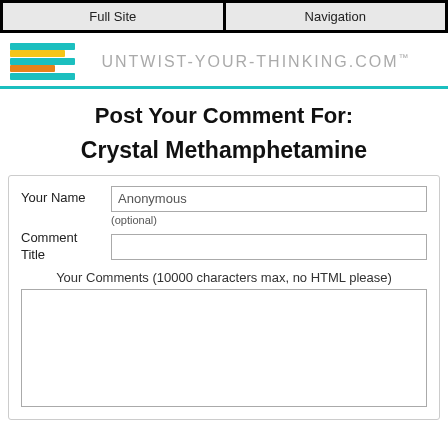Full Site | Navigation
[Figure (logo): Untwist-Your-Thinking.com logo with diagonal stripe graphic in teal, yellow, and orange colors]
Post Your Comment For:
Crystal Methamphetamine
Your Name | Anonymous (optional) | Comment Title | Your Comments (10000 characters max, no HTML please)